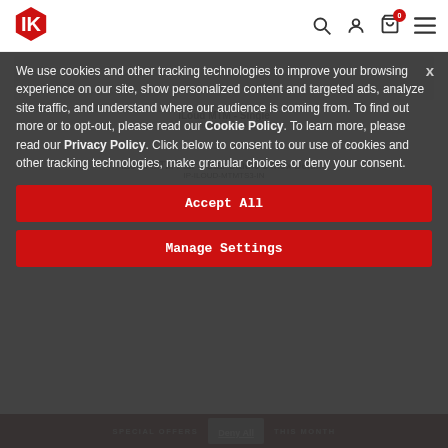[Figure (logo): IK Multimedia hexagonal logo in red and white]
We use cookies and other tracking technologies to improve your browsing experience on our site, show personalized content and targeted ads, analyze site traffic, and understand where our audience is coming from. To find out more or to opt-out, please read our Cookie Policy. To learn more, please read our Privacy Policy. Click below to consent to our use of cookies and other tracking technologies, make granular choices or deny your consent.
Accept All
Manage Settings
Deny All
SPECIAL OFFERS
THIS MONTH